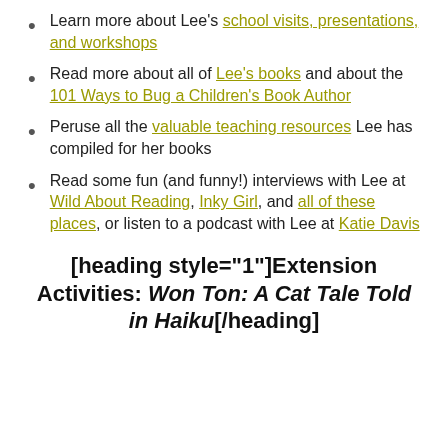Learn more about Lee's school visits, presentations, and workshops
Read more about all of Lee's books and about the 101 Ways to Bug a Children's Book Author
Peruse all the valuable teaching resources Lee has compiled for her books
Read some fun (and funny!) interviews with Lee at Wild About Reading, Inky Girl, and all of these places, or listen to a podcast with Lee at Katie Davis
[heading style="1"]Extension Activities: Won Ton: A Cat Tale Told in Haiku[/heading]